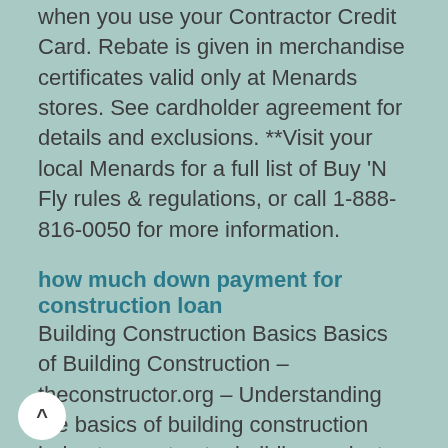when you use your Contractor Credit Card. Rebate is given in merchandise certificates valid only at Menards stores. See cardholder agreement for details and exclusions. **Visit your local Menards for a full list of Buy 'N Fly rules & regulations, or call 1-888-816-0050 for more information.
how much down payment for construction loan
Building Construction Basics Basics of Building Construction – theconstructor.org – Understanding the basics of building construction helps to construct a building project successfully. The steps involved in building construction are Basics of building construction are the set of principles, processes, and events that are necessary to implement a building project.But compared to a lot of people I know, plus national statistics, I could have it much worse. loan. The key here is paying on the